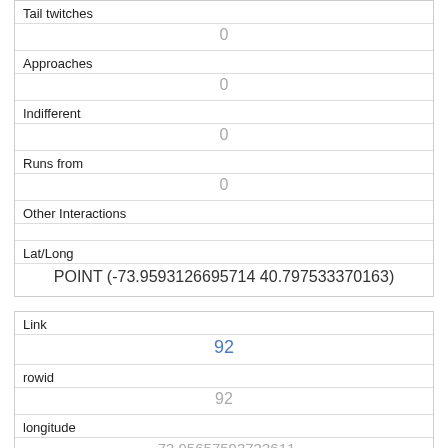| Tail twitches | 0 |
| Approaches | 0 |
| Indifferent | 0 |
| Runs from | 0 |
| Other Interactions |  |
| Lat/Long | POINT (-73.9593126695714 40.797533370163) |
| Link | 92 |
| rowid | 92 |
| longitude | -73.95657593733611 |
| latitude | 40.7992461674802 |